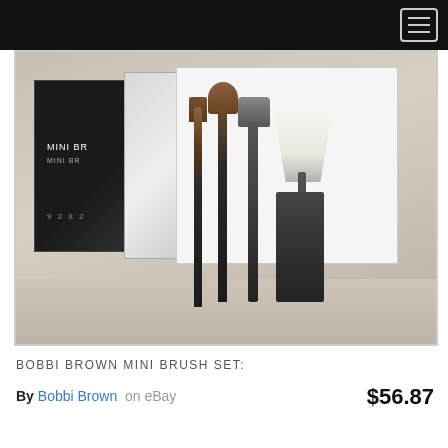[Figure (photo): Bobbi Brown Mini Brush Set product photo showing black packaging box and four makeup brushes on a patterned surface]
BOBBI BROWN MINI BRUSH SET:
By Bobbi Brown on eBay  $56.87